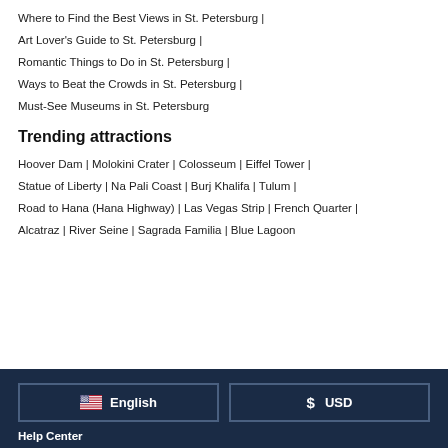Where to Find the Best Views in St. Petersburg |
Art Lover's Guide to St. Petersburg |
Romantic Things to Do in St. Petersburg |
Ways to Beat the Crowds in St. Petersburg |
Must-See Museums in St. Petersburg
Trending attractions
Hoover Dam | Molokini Crater | Colosseum | Eiffel Tower | Statue of Liberty | Na Pali Coast | Burj Khalifa | Tulum | Road to Hana (Hana Highway) | Las Vegas Strip | French Quarter | Alcatraz | River Seine | Sagrada Familia | Blue Lagoon
English
$ USD
Help Center